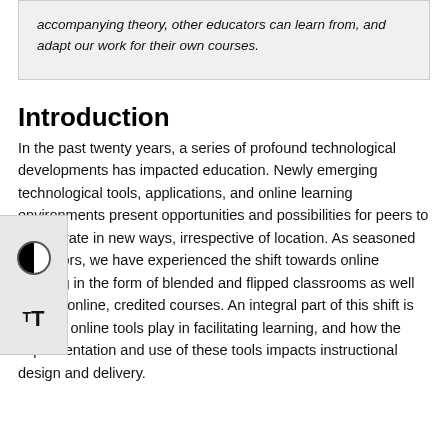accompanying theory, other educators can learn from, and adapt our work for their own courses.
Introduction
In the past twenty years, a series of profound technological developments has impacted education. Newly emerging technological tools, applications, and online learning environments present opportunities and possibilities for peers to collaborate in new ways, irrespective of location. As seasoned educators, we have experienced the shift towards online learning in the form of blended and flipped classrooms as well as fully online, credited courses. An integral part of this shift is the role online tools play in facilitating learning, and how the implementation and use of these tools impacts instructional design and delivery.